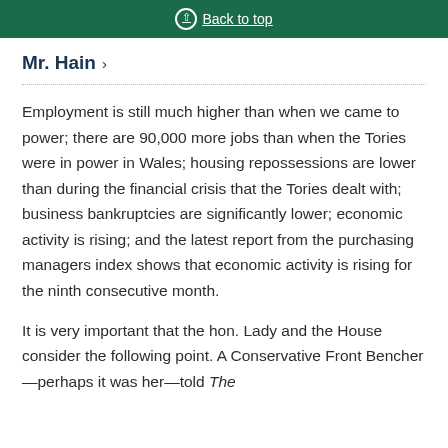Back to top
Mr. Hain >
Employment is still much higher than when we came to power; there are 90,000 more jobs than when the Tories were in power in Wales; housing repossessions are lower than during the financial crisis that the Tories dealt with; business bankruptcies are significantly lower; economic activity is rising; and the latest report from the purchasing managers index shows that economic activity is rising for the ninth consecutive month.
It is very important that the hon. Lady and the House consider the following point. A Conservative Front Bencher—perhaps it was her—told The